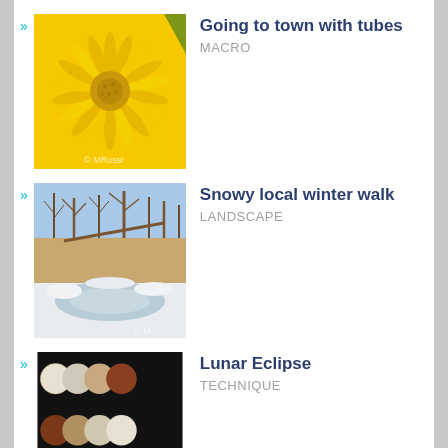Going to town with tubes — MACRO
[Figure (photo): Close-up macro photo of a yellow dandelion flower filling the frame, with copyright © MRossi watermark]
Snowy local winter walk — LANDSCAPE
[Figure (photo): Landscape photo of a snowy winter scene with bare trees and frozen water/ice, with copyright © M watermark]
Lunar Eclipse — TECHNIQUE
[Figure (photo): Composite photo showing multiple phases of a lunar eclipse arranged in two rows on black background]